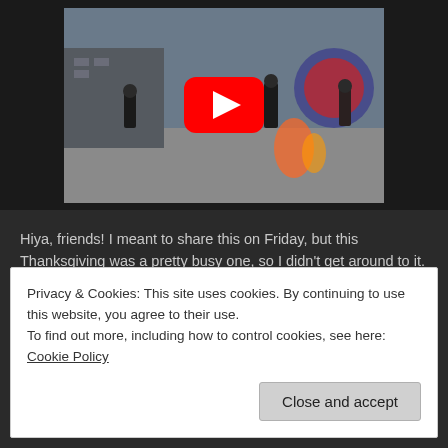[Figure (screenshot): YouTube video thumbnail showing action scene from a superhero movie with a red YouTube play button overlay. Dark-clad figures running on a grey surface with colorful energy effects in the background.]
Hiya, friends! I meant to share this on Friday, but this Thanksgiving was a pretty busy one, so I didn't get around to it. However, I'm here today to share a trailer that I'm very excited/nervous about. I say "excited/nervous" because I think it's gonna be a great movie, yet I also think it's gonna be devastating. Continue reading →
Privacy & Cookies: This site uses cookies. By continuing to use this website, you agree to their use.
To find out more, including how to control cookies, see here: Cookie Policy
Close and accept